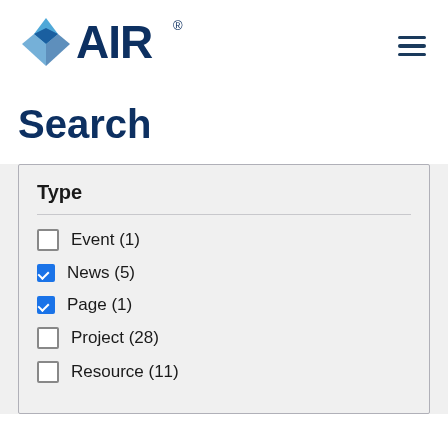[Figure (logo): AIR (American Institutes for Research) logo with blue diamond/arrow icon and AIR text in dark blue]
Search
Type
Event (1)
News (5)
Page (1)
Project (28)
Resource (11)